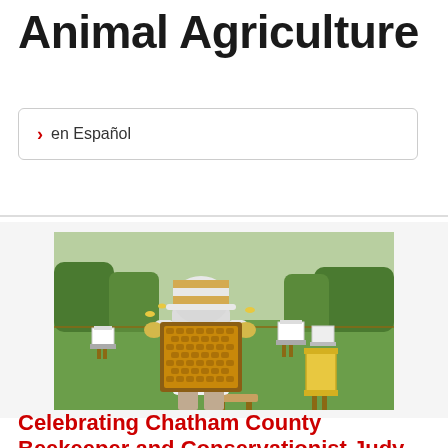Animal Agriculture
> en Español
[Figure (photo): A beekeeper in full white protective suit and striped hat/veil holding up a honeycomb frame with bees, standing in a grassy field with multiple white and yellow beehives in the background, trees visible on the horizon.]
Celebrating Chatham County Beekeeper and Conservationist Judy Pick